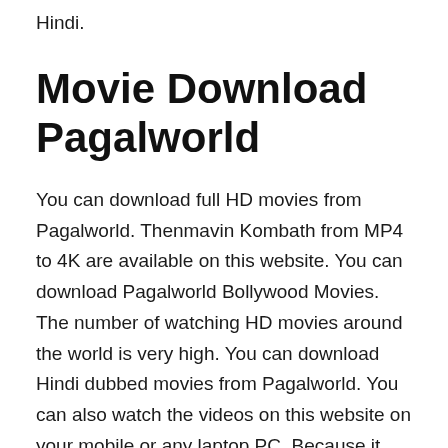Hindi.
Movie Download Pagalworld
You can download full HD movies from Pagalworld. Thenmavin Kombath from MP4 to 4K are available on this website. You can download Pagalworld Bollywood Movies. The number of watching HD movies around the world is very high. You can download Hindi dubbed movies from Pagalworld. You can also watch the videos on this website on your mobile or any laptop PC. Because it provides HD quality movies absolutely free.